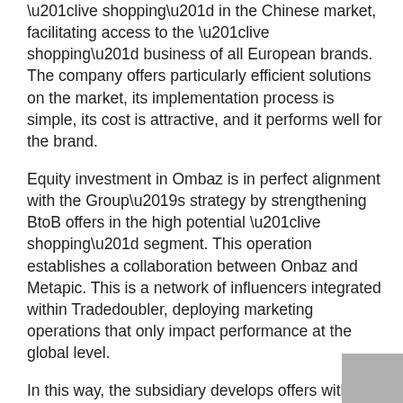“live shopping” in the Chinese market, facilitating access to the “live shopping” business of all European brands. The company offers particularly efficient solutions on the market, its implementation process is simple, its cost is attractive, and it performs well for the brand.
Equity investment in Ombaz is in perfect alignment with the Group’s strategy by strengthening BtoB offers in the high potential “live shopping” segment. This operation establishes a collaboration between Onbaz and Metapic. This is a network of influencers integrated within Tradedoubler, deploying marketing operations that only impact performance at the global level.
In this way, the subsidiary develops offers with customers and influential networks. The latter can, in particular, create large-scale, frictionless “live shopping” on social networks. They will build their trust and bring a new shopping experience to their followers.
“We are pleased to announce Tradedoubler’s equity